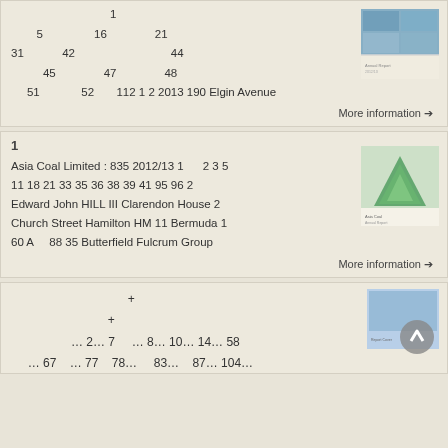5  16  21  31  42  44  45  47  48  51  52  112 1 2 2013 190 Elgin Avenue
More information →
1
Asia Coal Limited : 835 2012/13 1  2 3 5 11 18 21 33 35 36 38 39 41 95 96 2 Edward John HILL III Clarendon House 2 Church Street Hamilton HM 11 Bermuda 1 60 A  88 35 Butterfield Fulcrum Group
More information →
+ + … 2… 7  … 8… 10… 14… 58 … 67… 77… 78…  83… 87… 104…